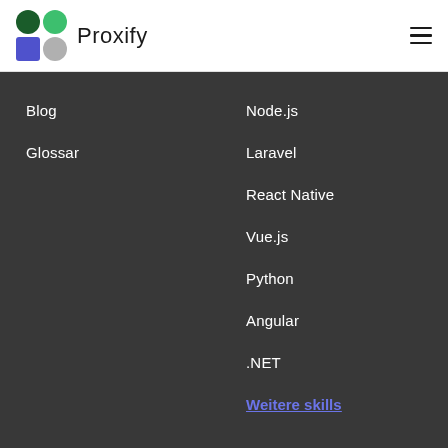[Figure (logo): Proxify logo with colored shape grid (dark green circle, green shape, blue square, gray circle) and wordmark 'Proxify']
Blog
Glossar
Node.js
Laravel
React Native
Vue.js
Python
Angular
.NET
Weitere skills